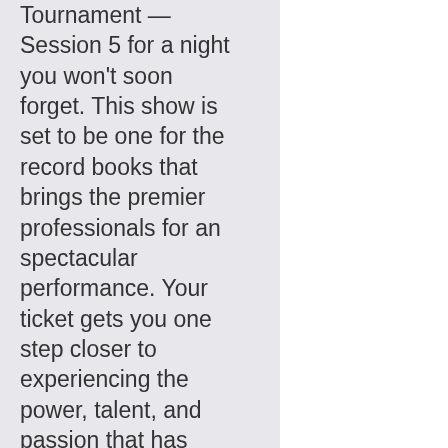Tournament — Session 5 for a night you won't soon forget. This show is set to be one for the record books that brings the premier professionals for an spectacular performance. Your ticket gets you one step closer to experiencing the power, talent, and passion that has made this sports show a true fan favorite. Critics are calling this a fantastic event that you can't afford to miss and fans have taken notice, but you